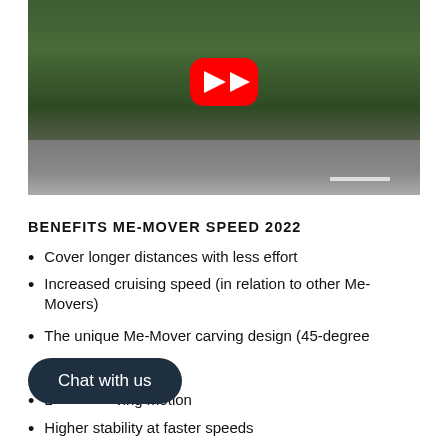[Figure (screenshot): YouTube video thumbnail showing a person riding a three-wheeled Me-Mover scooter on a road, with trees in the background. A red YouTube play button is overlaid in the center.]
BENEFITS ME-MOVER SPEED 2022
Cover longer distances with less effort
Increased cruising speed (in relation to other Me-Movers)
The unique Me-Mover carving design (45-degree
L... ...ving motion
Higher stability at faster speeds